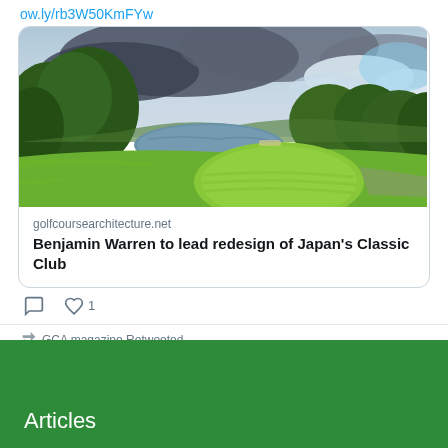ow.ly/rb3W50KmFYw
[Figure (photo): Golf course photo showing a green fairway with a pond, trees, and dramatic cloudy sky]
golfcoursearchitecture.net
Benjamin Warren to lead redesign of Japan's Classic Club
1
GCA magazine Retweeted
Sand Valley @Sand_V · Aug 17
Articles